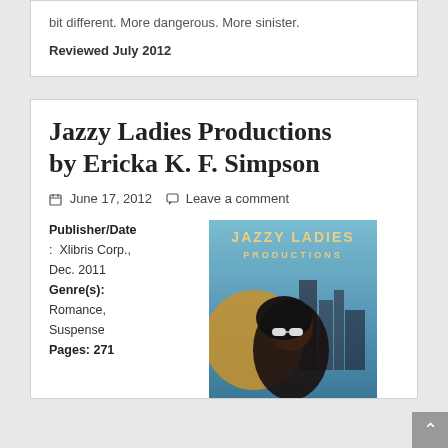bit different. More dangerous. More sinister.
Reviewed July 2012
Jazzy Ladies Productions by Ericka K. F. Simpson
June 17, 2012   Leave a comment
Publisher/Date: Xlibris Corp., Dec. 2011
Genre(s): Romance, Suspense
[Figure (photo): Book cover of Jazzy Ladies Productions showing title text and a woman with sunglasses against a city skyline background]